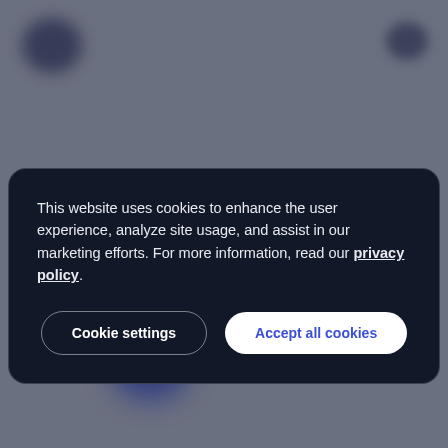[Figure (screenshot): Blurred website background with dark navy/grey tones and dark circular blobs in corners]
This website uses cookies to enhance the user experience, analyze site usage, and assist in our marketing efforts. For more information, read our privacy policy.